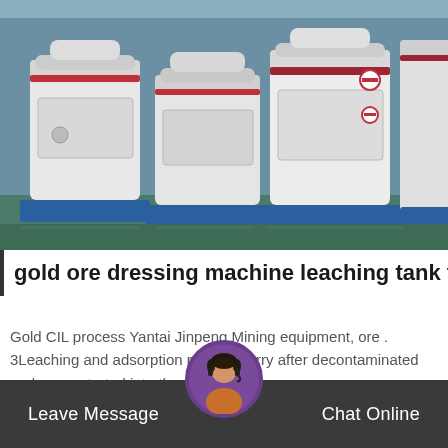[Figure (photo): Industrial mining machines — large white cylindrical grinding/milling machines lined up in a factory/warehouse setting with blue floor supports]
gold ore dressing machine leaching tank fo…
Gold CIL process Yantai Jinpeng Mining equipment, ore . 3Leaching and adsorption put the slurry after decontaminated and concentrated into the…
Get Price
Leave Message  Chat Online